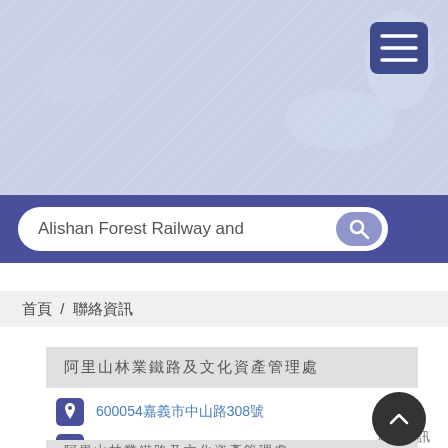[Figure (screenshot): Map background header area with light blue/purple hatched pattern and a hamburger menu button in top right]
Alishan Forest Railway and
首頁 / 聯絡資訊
阿里山林業鐵路及文化資產管理處
600054嘉義市中山路308號
(05)277-9843
afrch@forest.gov.tw
https://afrch.forest.gov.tw/
聯絡資訊
阿里山林業鐵路及文化資產管理處